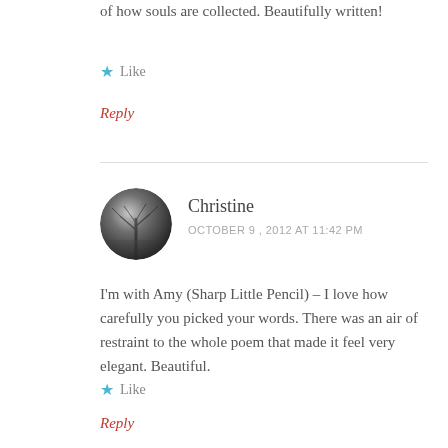of how souls are collected. Beautifully written!
Like
Reply
Christine
OCTOBER 9, 2012 AT 11:42 PM
I'm with Amy (Sharp Little Pencil) – I love how carefully you picked your words. There was an air of restraint to the whole poem that made it feel very elegant. Beautiful.
Like
Reply